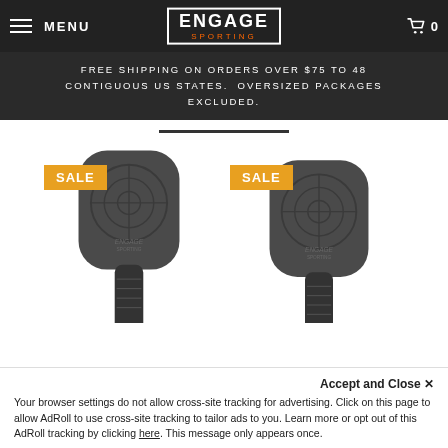MENU | ENGAGE SPORTING | 0
FREE SHIPPING ON ORDERS OVER $75 TO 48 CONTIGUOUS US STATES.  OVERSIZED PACKAGES EXCLUDED.
[Figure (photo): Two pickleball paddles shown side by side, both with SALE badges in orange. Dark gray paddles with target/crosshair design on face, long handles.]
Accept and Close ✕
Your browser settings do not allow cross-site tracking for advertising. Click on this page to allow AdRoll to use cross-site tracking to tailor ads to you. Learn more or opt out of this AdRoll tracking by clicking here. This message only appears once.